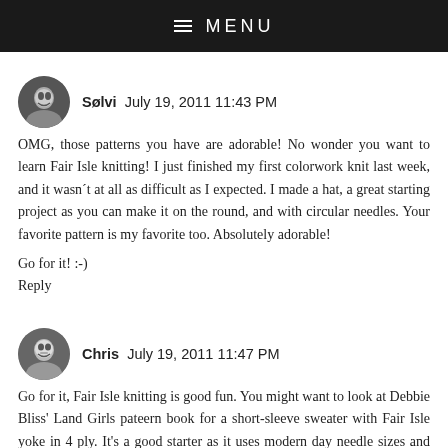≡ MENU
Sølvi  July 19, 2011 11:43 PM
OMG, those patterns you have are adorable! No wonder you want to learn Fair Isle knitting! I just finished my first colorwork knit last week, and it wasn´t at all as difficult as I expected. I made a hat, a great starting project as you can make it on the round, and with circular needles. Your favorite pattern is my favorite too. Absolutely adorable!

Go for it! :-)

Reply
Chris  July 19, 2011 11:47 PM
Go for it, Fair Isle knitting is good fun. You might want to look at Debbie Bliss' Land Girls pateern book for a short-sleeve sweater with Fair Isle yoke in 4 ply. It's a good starter as it uses modern day needle sizes and yarn weights but has a vintage feel.